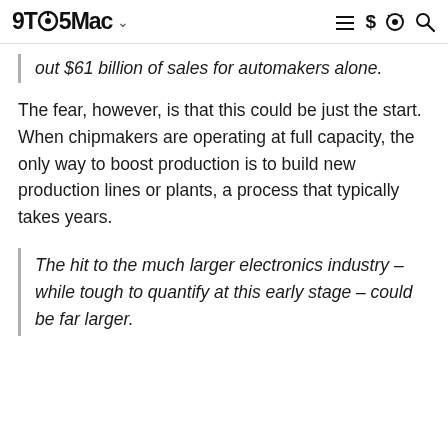9TO5Mac
out $61 billion of sales for automakers alone.
The fear, however, is that this could be just the start. When chipmakers are operating at full capacity, the only way to boost production is to build new production lines or plants, a process that typically takes years.
The hit to the much larger electronics industry – while tough to quantify at this early stage – could be far larger.